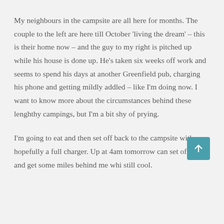My neighbours in the campsite are all here for months. The couple to the left are here till October 'living the dream' – this is their home now – and the guy to my right is pitched up while his house is done up. He's taken six weeks off work and seems to spend his days at another Greenfield pub, charging his phone and getting mildly addled – like I'm doing now. I want to know more about the circumstances behind these lenghthy campings, but I'm a bit shy of prying.
I'm going to eat and then set off back to the campsite with hopefully a full charger. Up at 4am tomorrow can set off at 6 and get some miles behind me whi still cool.